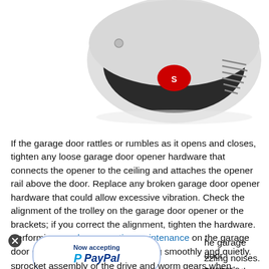[Figure (photo): A garage door opener unit viewed from below, showing a silver and dark grey motor unit with ventilation grilles and a red logo badge, mounted to ceiling.]
If the garage door rattles or rumbles as it opens and closes, tighten any loose garage door opener hardware that connects the opener to the ceiling and attaches the opener rail above the door. Replace any broken garage door opener hardware that could allow excessive vibration. Check the alignment of the trolley on the garage door opener or the brackets; if you correct the alignment, tighten the hardware. Performing regular preventive maintenance on the garage door opener can also keep it running smoothly and quietly.
[Figure (other): PayPal acceptance badge with close button: rounded rectangle with 'Now accepting' and PayPal logo]
he garage door opener's motor unit can zzling noises. Replace the gear and sprocket assembly or the drive and worm gears when they're